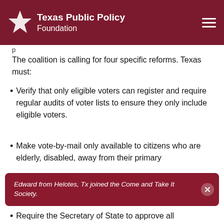Texas Public Policy Foundation
The coalition is calling for four specific reforms. Texas must:
Verify that only eligible voters can register and require regular audits of voter lists to ensure they only include eligible voters.
Make vote-by-mail only available to citizens who are elderly, disabled, away from their primary military.
Require the Secretary of State to approve all
Edward from Helotes, Tx joined the Come and Take It Society.